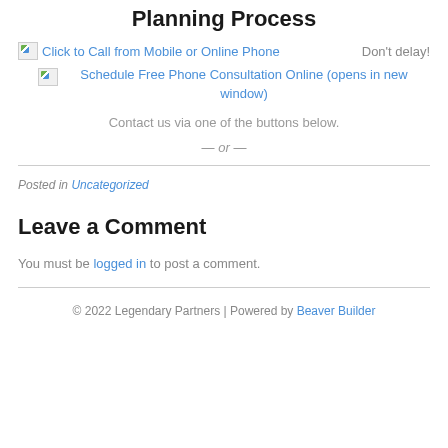Planning Process
Click to Call from Mobile or Online Phone   Don't delay!
Schedule Free Phone Consultation Online (opens in new window)
Contact us via one of the buttons below.
— or —
Posted in Uncategorized
Leave a Comment
You must be logged in to post a comment.
© 2022 Legendary Partners | Powered by Beaver Builder